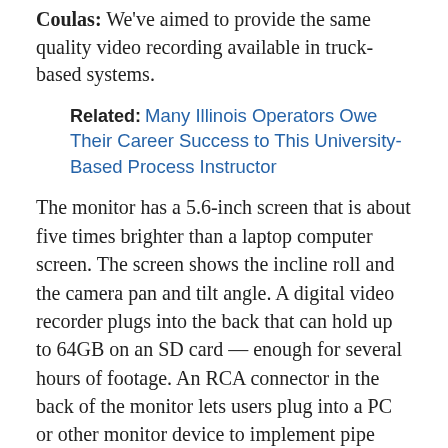Coulas: We've aimed to provide the same quality video recording available in truck-based systems.
Related: Many Illinois Operators Owe Their Career Success to This University-Based Process Instructor
The monitor has a 5.6-inch screen that is about five times brighter than a laptop computer screen. The screen shows the incline roll and the camera pan and tilt angle. A digital video recorder plugs into the back that can hold up to 64GB on an SD card — enough for several hours of footage. An RCA connector in the back of the monitor lets users plug into a PC or other monitor device to implement pipe survey and reporting software.
TPO: What do you see as some of the most promising